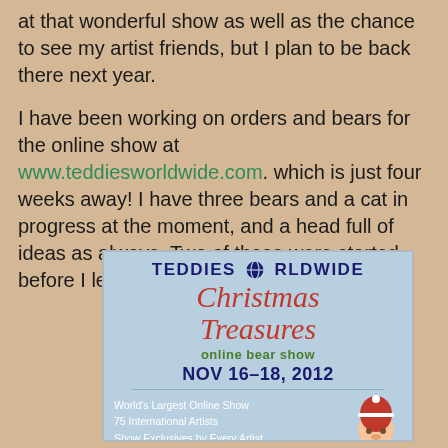at that wonderful show as well as the chance to see my artist friends, but I plan to be back there next year.
I have been working on orders and bears for the online show at www.teddiesworldwide.com. which is just four weeks away! I have three bears and a cat in progress at the moment, and a head full of ideas as always. Two of these were started before I left for Hawaii in August!
[Figure (illustration): Advertisement banner for Teddies Worldwide Christmas Treasures online bear show, Nov 16-18, 2012. Blue background with text: TEDDIES WORLDWIDE in bold dark blue, Christmas Treasures in red cursive, online bear show in green, NOV 16-18, 2012 in bold dark blue, divider line, World's Largest Online Show, 75 International Artists, Show Exclusives by Every Artist, with a Santa hat bear image in bottom right.]